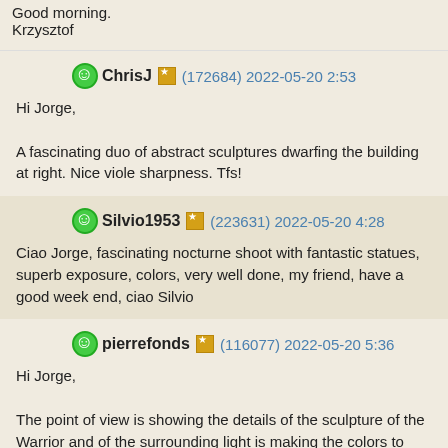Good morning.
Krzysztof
ChrisJ (172684) 2022-05-20 2:53
Hi Jorge,

A fascinating duo of abstract sculptures dwarfing the building at right. Nice viole sharpness. Tfs!
Silvio1953 (223631) 2022-05-20 4:28
Ciao Jorge, fascinating nocturne shoot with fantastic statues, superb exposure, colors, very well done, my friend, have a good week end, ciao Silvio
pierrefonds (116077) 2022-05-20 5:36
Hi Jorge,

The point of view is showing the details of the sculpture of the Warrior and of the surrounding light is making the colors to stand out. Have a nice day.

Pierre